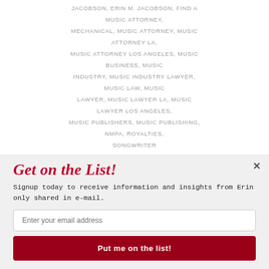JACOBSON, ERIN M. JACOBSON, FIND A MUSIC ATTORNEY, MECHANICAL, MUSIC ATTORNEY, MUSIC ATTORNEY LA, MUSIC ATTORNEY LOS ANGELES, MUSIC BUSINESS, MUSIC INDUSTRY, MUSIC INDUSTRY LAWYER, MUSIC LAW, MUSIC LAWYER, MUSIC LAWYER LA, MUSIC LAWYER LOS ANGELES, MUSIC PUBLISHERS, MUSIC PUBLISHING, NMPA, ROYALTIES, SONGWRITER
[Figure (screenshot): YouTube video thumbnail with dark background showing 'This Trial Will Dete...' title, channel avatar (stylized logo), and 'Powered by SUMO' badge.]
Get on the List!
Signup today to receive information and insights from Erin only shared in e-mail.